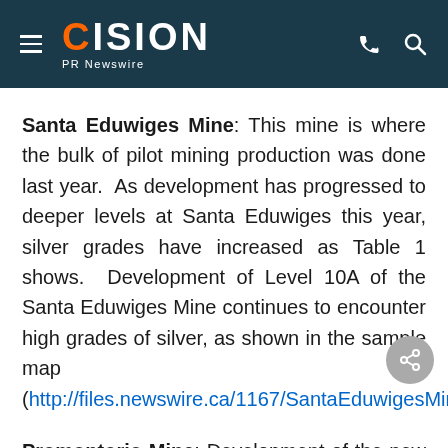CISION PR Newswire
Santa Eduwiges Mine: This mine is where the bulk of pilot mining production was done last year. As development has progressed to deeper levels at Santa Eduwiges this year, silver grades have increased as Table 1 shows. Development of Level 10A of the Santa Eduwiges Mine continues to encounter high grades of silver, as shown in the sample map (http://files.newswire.ca/1167/SantaEduwigesMine.pdf).
Promontorio Mine: Development of the new access ramp has reached Levels 5 and 7 and accessed the